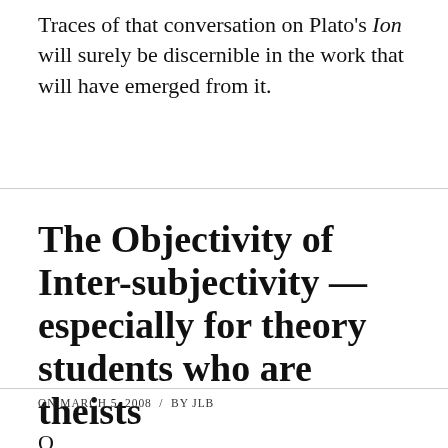Traces of that conversation on Plato's Ion will surely be discernible in the work that will have emerged from it.
The Objectivity of Inter-subjectivity — especially for theory students who are theists
ON MARCH 5, 2008 / BY JLB
O…